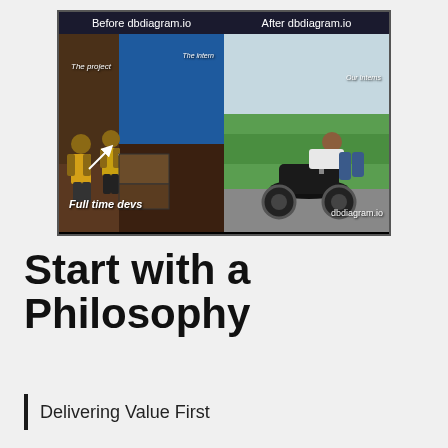[Figure (illustration): A two-panel meme comparing 'Before dbdiagram.io' (left: people pushing a heavy load labeled 'The project', 'The intern', 'Full time devs') and 'After dbdiagram.io' (right: person leaning relaxed on a motorcycle, labeled 'Our Interns', with 'dbdiagram.io' watermark)]
Start with a Philosophy
Delivering Value First